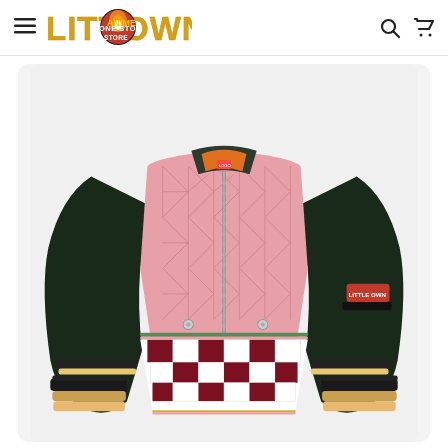LittleOwn – One Stop Anime Store
[Figure (photo): Anime-inspired bomber jacket with pink geometric (asanoha/hemp-leaf pattern) body, black satin sleeves, dark green ribbed collar, maroon and white checkerboard lower panel, striped cuffs in black/tan/pink, and a red arm patch. Displayed on a light gray rounded-corner background.]